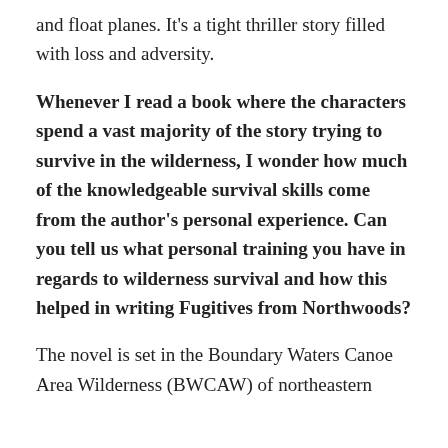and float planes. It's a tight thriller story filled with loss and adversity.
Whenever I read a book where the characters spend a vast majority of the story trying to survive in the wilderness, I wonder how much of the knowledgeable survival skills come from the author's personal experience. Can you tell us what personal training you have in regards to wilderness survival and how this helped in writing Fugitives from Northwoods?
The novel is set in the Boundary Waters Canoe Area Wilderness (BWCAW) of northeastern